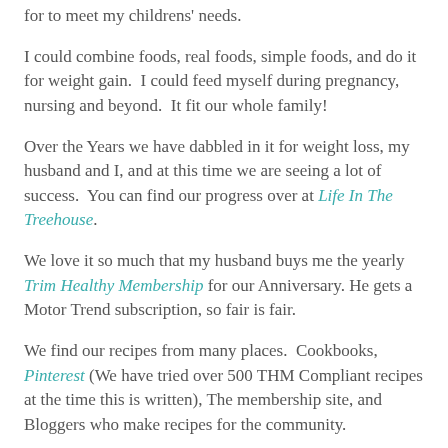for to meet my childrens' needs.
I could combine foods, real foods, simple foods, and do it for weight gain.  I could feed myself during pregnancy, nursing and beyond.  It fit our whole family!
Over the Years we have dabbled in it for weight loss, my husband and I, and at this time we are seeing a lot of success.  You can find our progress over at Life In The Treehouse.
We love it so much that my husband buys me the yearly Trim Healthy Membership for our Anniversary.  He gets a Motor Trend subscription, so fair is fair.
We find our recipes from many places.  Cookbooks, Pinterest (We have tried over 500 THM Compliant recipes at the time this is written), The membership site, and Bloggers who make recipes for the community.